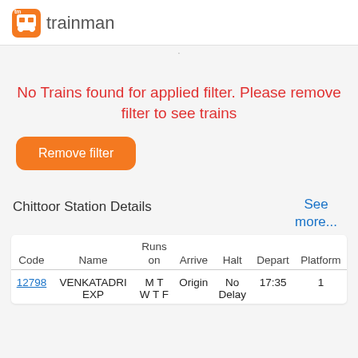[Figure (logo): Trainman logo: orange square icon with 'tm' text and a train icon, followed by the word 'trainman' in gray]
No Trains found for applied filter. Please remove filter to see trains
Remove filter
Chittoor Station Details
See more...
| Code | Name | Runs on | Arrive | Halt | Depart | Platform |
| --- | --- | --- | --- | --- | --- | --- |
| 12798 | VENKATADRI EXP | M T W T F | Origin | No Delay | 17:35 | 1 |